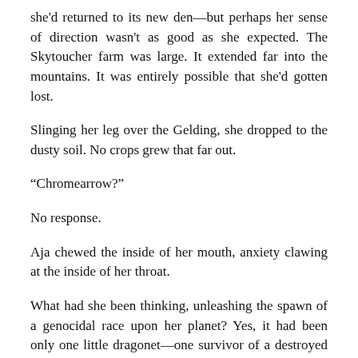she'd returned to its new den—but perhaps her sense of direction wasn't as good as she expected. The Skytoucher farm was large. It extended far into the mountains. It was entirely possible that she'd gotten lost.
Slinging her leg over the Gelding, she dropped to the dusty soil. No crops grew that far out.
“Chromearrow?”
No response.
Aja chewed the inside of her mouth, anxiety clawing at the inside of her throat.
What had she been thinking, unleashing the spawn of a genocidal race upon her planet? Yes, it had been only one little dragonet—one survivor of a destroyed nest—but dragons had managed to kill many humans before, even without support.